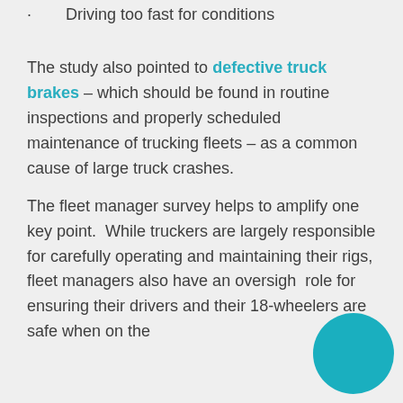· Driving too fast for conditions
The study also pointed to defective truck brakes – which should be found in routine inspections and properly scheduled maintenance of trucking fleets – as a common cause of large truck crashes.
The fleet manager survey helps to amplify one key point. While truckers are largely responsible for carefully operating and maintaining their rigs, fleet managers also have an oversight role for ensuring their drivers and their 18-wheelers are safe when on the